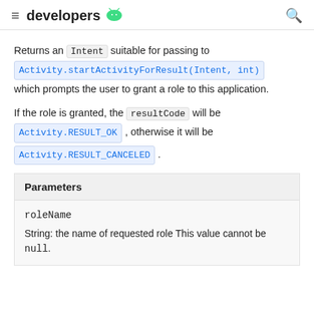developers
Returns an Intent suitable for passing to Activity.startActivityForResult(Intent, int) which prompts the user to grant a role to this application.
If the role is granted, the resultCode will be Activity.RESULT_OK , otherwise it will be Activity.RESULT_CANCELED .
| Parameters |
| --- |
| roleName | String: the name of requested role This value cannot be null. |